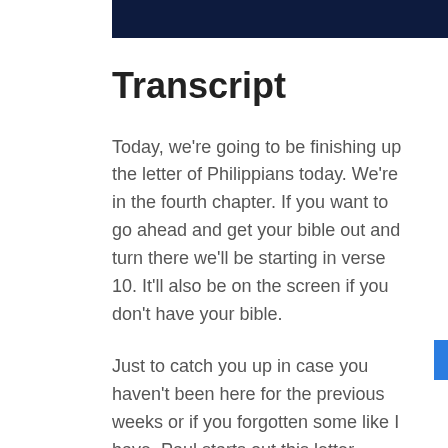[Figure (other): Dark navy blue header bar across the top of the page]
Transcript
Today, we're going to be finishing up the letter of Philippians today. We're in the fourth chapter. If you want to go ahead and get your bible out and turn there we'll be starting in verse 10. It'll also be on the screen if you don't have your bible.
Just to catch you up in case you haven't been here for the previous weeks or if you forgotten some like I have, Paul starts out this letter writing to the church at Philippi, to the Philippian Christians there. He says he's thankful for them. In fact, he